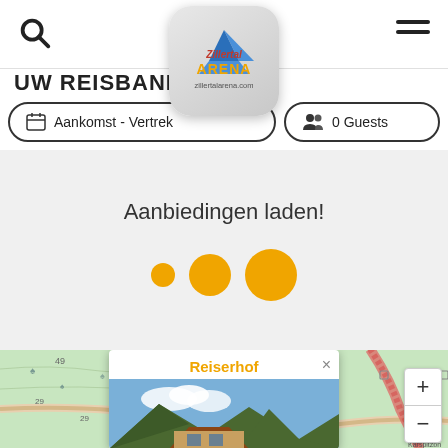[Figure (logo): Zillertal Arena logo badge with mountain graphic and text 'zillertalarena.com']
UW REISBANK
Aankomst  -  Vertrek
0 Guests
Aanbiedingen laden!
[Figure (screenshot): Loading animation with three growing orange dots]
[Figure (map): Topographic map showing terrain with a popup for Reiserhof accommodation, zoom +/- controls, and Talstation Karspitzbahn label]
Reiserhof